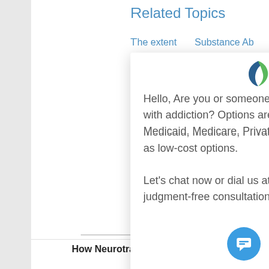Related Topics
The extent of Substance Ab
[Figure (screenshot): Chat widget popup with logo (bird/leaf icon), close X button, message text about addiction help options, and phone number link (888)906-0952]
Hello, Are you or someone you love struggling with addiction? Options are available for Medicaid, Medicare, Private Insurance, as well as low-cost options.

Let's chat now or dial us at (888)906-0952 for a judgment-free consultation.
How Neurotransmitters Work